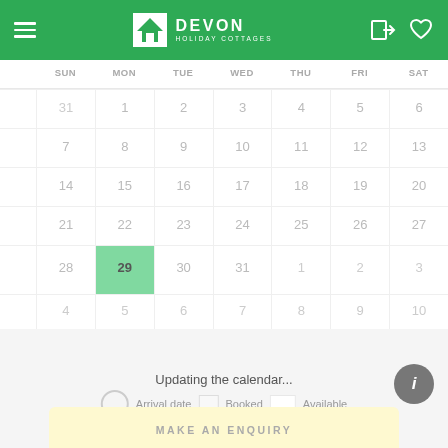[Figure (screenshot): Devon Holiday Cottages website header with green background, hamburger menu, logo, login and heart icons]
| SUN | MON | TUE | WED | THU | FRI | SAT |
| --- | --- | --- | --- | --- | --- | --- |
| 31 | 1 | 2 | 3 | 4 | 5 | 6 |
| 7 | 8 | 9 | 10 | 11 | 12 | 13 |
| 14 | 15 | 16 | 17 | 18 | 19 | 20 |
| 21 | 22 | 23 | 24 | 25 | 26 | 27 |
| 28 | 29 | 30 | 31 | 1 | 2 | 3 |
| 4 | 5 | 6 | 7 | 8 | 9 | 10 |
Updating the calendar...
Arrival date   Booked   Available
MAKE AN ENQUIRY